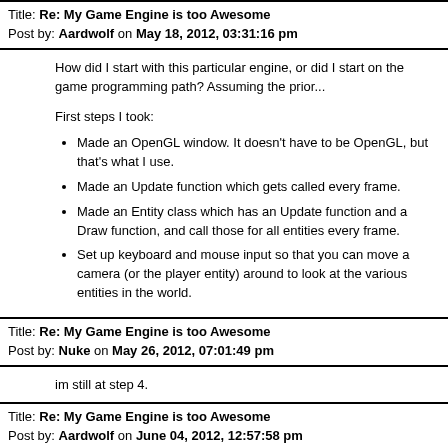Title: Re: My Game Engine is too Awesome
Post by: Aardwolf on May 18, 2012, 03:31:16 pm
How did I start with this particular engine, or did I start on the game programming path? Assuming the prior...
First steps I took:
Made an OpenGL window. It doesn't have to be OpenGL, but that's what I use.
Made an Update function which gets called every frame.
Made an Entity class which has an Update function and a Draw function, and call those for all entities every frame.
Set up keyboard and mouse input so that you can move a camera (or the player entity) around to look at the various entities in the world.
Title: Re: My Game Engine is too Awesome
Post by: Nuke on May 26, 2012, 07:01:49 pm
im still at step 4.
Title: Re: My Game Engine is too Awesome
Post by: Aardwolf on June 04, 2012, 12:57:58 pm